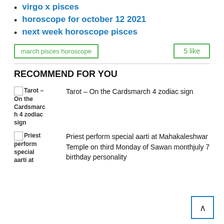virgo x pisces
horoscope for october 12 2021
next week horoscope pisces
march pisces horoscope   5 like
RECOMMEND FOR YOU
Tarot – On the Cardsmarch 4 zodiac sign
Priest perform special aarti at Mahakaleshwar Temple on third Monday of Sawan monthjuly 7 birthday personality